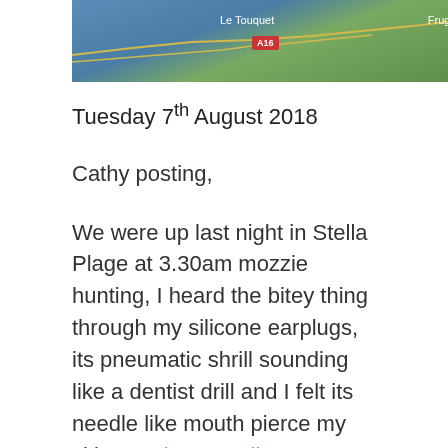[Figure (map): Google Maps screenshot showing coastal area near Le Touquet with A16 motorway marker and Fruges label visible]
Tuesday 7th August 2018
Cathy posting,
We were up last night in Stella Plage at 3.30am mozzie hunting, I heard the bitey thing through my silicone earplugs, its pneumatic shrill sounding like a dentist drill and I felt its needle like mouth pierce my skin Continue reading →
A leaking toilet and a massive beach!